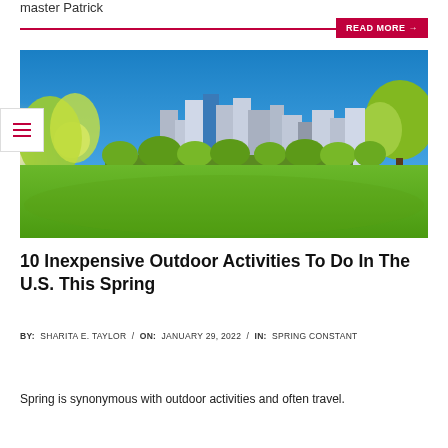master Patrick
READ MORE →
[Figure (photo): A bright sunny day in a city park with a lush green lawn in the foreground, trees on both sides, and a city skyline with tall buildings in the background under a blue sky.]
10 Inexpensive Outdoor Activities To Do In The U.S. This Spring
BY: SHARITA E. TAYLOR / ON: JANUARY 29, 2022 / IN: SPRING CONSTANT
Spring is synonymous with outdoor activities and often travel.